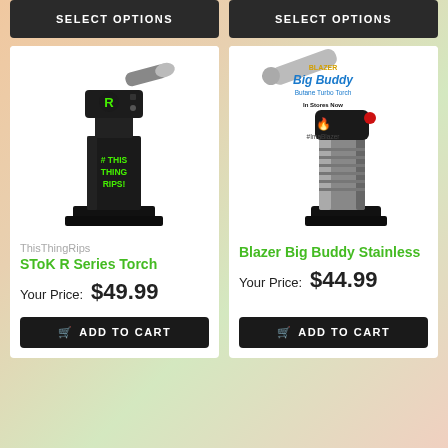SELECT OPTIONS
SELECT OPTIONS
[Figure (photo): Black butane torch with green R logo and text 'IF THIS THING RIPS!' - ThisThingRips SToK R Series Torch]
ThisThingRips
SToK R Series Torch
Your Price: $49.99
ADD TO CART
[Figure (photo): Silver and black Blazer Big Buddy Butane Turbo Torch with product branding showing 'In Stores Now Ask for it today. #ImaBlazer']
Blazer Big Buddy Stainless
Your Price: $44.99
ADD TO CART